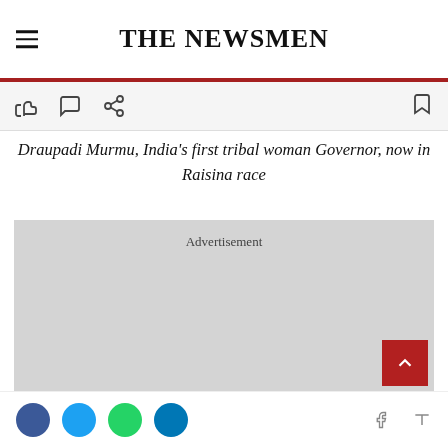THE NEWSMEN
Draupadi Murmu, India's first tribal woman Governor, now in Raisina race
[Figure (other): Advertisement placeholder block (grey rectangle)]